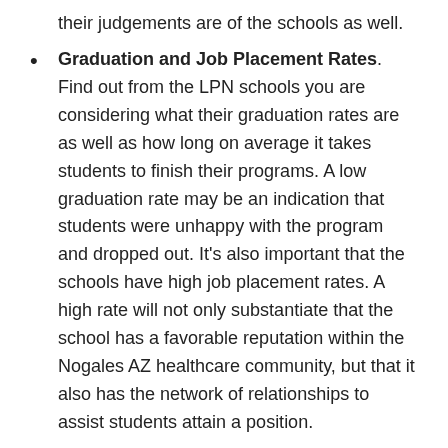their judgements are of the schools as well.
Graduation and Job Placement Rates. Find out from the LPN schools you are considering what their graduation rates are as well as how long on average it takes students to finish their programs. A low graduation rate may be an indication that students were unhappy with the program and dropped out. It's also important that the schools have high job placement rates. A high rate will not only substantiate that the school has a favorable reputation within the Nogales AZ healthcare community, but that it also has the network of relationships to assist students attain a position.
Internship Programs. The most effective way to acquire experience as a Licensed Practical Nurse is to work in a clinical environment. Essentially all nursing degree programs require a specific number of clinical hours be completed. A number of states have minimum clinical hour prerequisites for licensing also. Ask if the